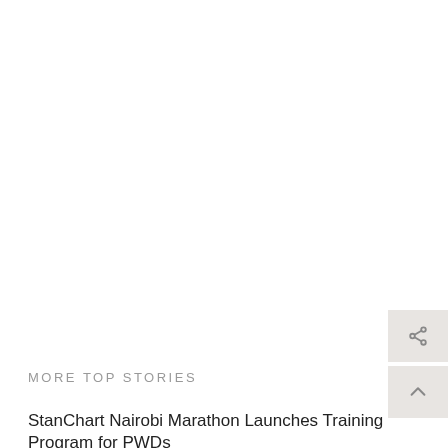MORE TOP STORIES
StanChart Nairobi Marathon Launches Training Program for PWDs